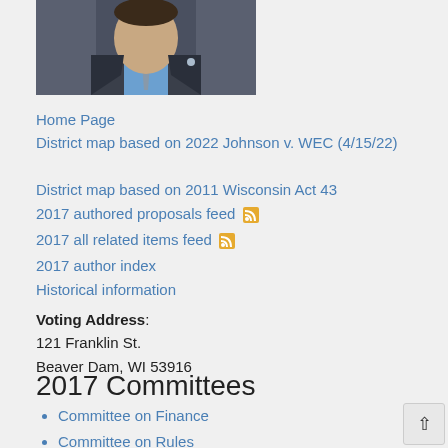[Figure (photo): Portrait photo of a man in a dark suit with a blue tie]
Home Page
District map based on 2022 Johnson v. WEC (4/15/22)
District map based on 2011 Wisconsin Act 43
2017 authored proposals feed [RSS icon]
2017 all related items feed [RSS icon]
2017 author index
Historical information
Voting Address: 121 Franklin St. Beaver Dam, WI 53916
2017 Committees
Committee on Finance
Committee on Rules
Joint Committee on Finance
Biography
Born Beaver Dam, Wisconsin, April 14, 1976: